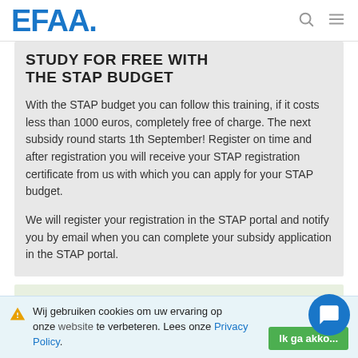EFAA.
STUDY FOR FREE WITH THE STAP BUDGET
With the STAP budget you can follow this training, if it costs less than 1000 euros, completely free of charge. The next subsidy round starts 1th September! Register on time and after registration you will receive your STAP registration certificate from us with which you can apply for your STAP budget.
We will register your registration in the STAP portal and notify you by email when you can complete your subsidy application in the STAP portal.
Wij gebruiken cookies om uw ervaring op onze website te verbeteren. Lees onze Privacy Policy.